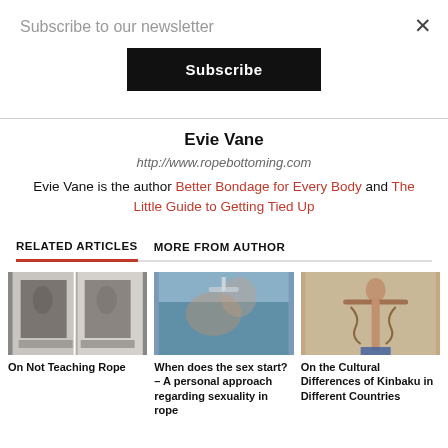Subscribe to our newsletter
Subscribe
×
Evie Vane
http://www.ropebottoming.com
Evie Vane is the author Better Bondage for Every Body and The Little Guide to Getting Tied Up
RELATED ARTICLES   MORE FROM AUTHOR
[Figure (photo): Black and white book spread showing rope bondage images with Japanese text]
On Not Teaching Rope
[Figure (photo): Color photo of people in a shower scene with rope bondage]
When does the sex start? – A personal approach regarding sexuality in rope
[Figure (photo): Color photo of a person in rope bondage with arms raised]
On the Cultural Differences of Kinbaku in Different Countries